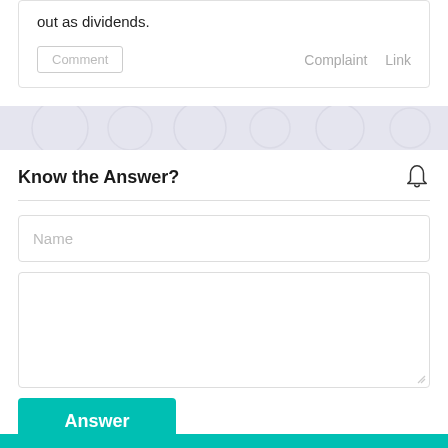out as dividends.
Comment   Complaint   Link
[Figure (other): Decorative banner with light purple/grey background and subtle pattern]
Know the Answer?
Name
Answer